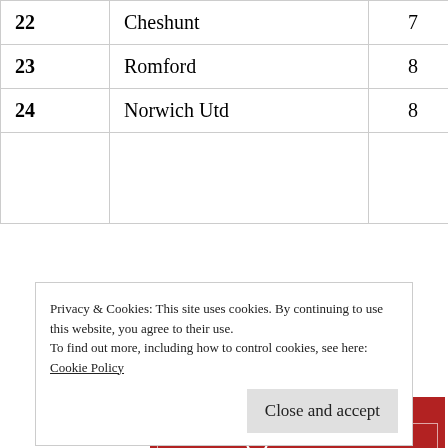| # | Team | P | W |  |
| --- | --- | --- | --- | --- |
| 22 | Cheshunt | 7 | 1 | 1 |
| 23 | Romford | 8 | 1 | 1 |
| 24 | Norwich Utd | 8 | 0 | 1 |
|  |  |  |  |  |
Advertisements
[Figure (other): Longreads advertisement banner — red background with white border rectangle, Longreads logo and text: The best stories on the web – ours, and everyone else's.]
Privacy & Cookies: This site uses cookies. By continuing to use this website, you agree to their use.
To find out more, including how to control cookies, see here:
Cookie Policy
Close and accept